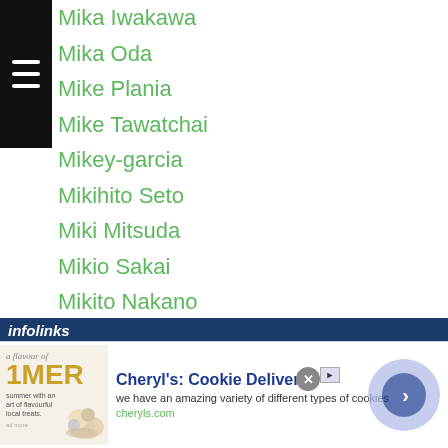Mika Iwakawa
Mika Oda
Mike Plania
Mike Tawatchai
Mikey-garcia
Mikihito Seto
Miki Mitsuda
Mikio Sakai
Mikito Nakano
Mikyo Watarai
Milan Melindo
Minayo Kei
Min Chul Bae
Min Hyuk Jang
Min Hyun Yang
Minimumweight
[Figure (screenshot): Advertisement banner: infolinks bar followed by Cheryl's Cookie Delivery ad with image, title, description text 'we have an amazing variety of different types of cookies', URL cheryls.com, and a navigation arrow circle.]